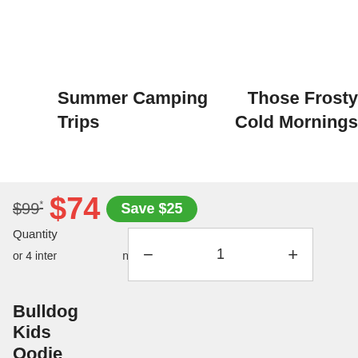Summer Camping Trips
Those Frosty Cold Mornings
$99* $74 Save $25
Quantity
or 4 interest-free payments of $18.50 with Sezzle ⓘ
Bulldog Kids Oodie
ADD TO CART